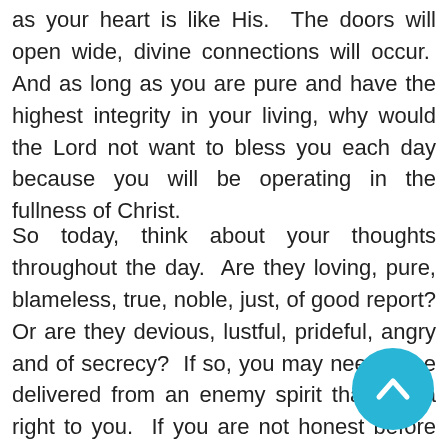as your heart is like His.  The doors will open wide, divine connections will occur.  And as long as you are pure and have the highest integrity in your living, why would the Lord not want to bless you each day because you will be operating in the fullness of Christ.
So today, think about your thoughts throughout the day.  Are they loving, pure, blameless, true, noble, just, of good report? Or are they devious, lustful, prideful, angry and of secrecy?  If so, you may need to be delivered from an enemy spirit that has a right to you.  If you are not honest before the Lord, then the enemy has a right to torment you.  Repenting and coming clean is ultimately an amazing feeling.  There are many in the church who are operating in
[Figure (illustration): Teal/cyan circular scroll-to-top button with upward-pointing chevron arrow, positioned in bottom-right corner]